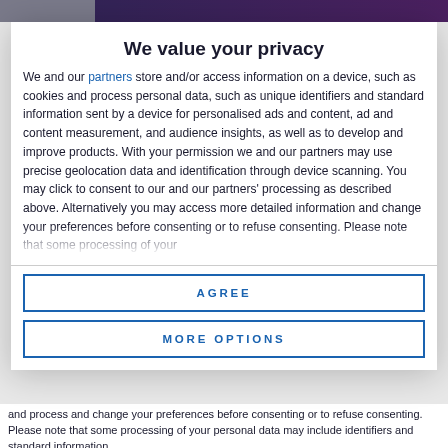We value your privacy
We and our partners store and/or access information on a device, such as cookies and process personal data, such as unique identifiers and standard information sent by a device for personalised ads and content, ad and content measurement, and audience insights, as well as to develop and improve products. With your permission we and our partners may use precise geolocation data and identification through device scanning. You may click to consent to our and our partners' processing as described above. Alternatively you may access more detailed information and change your preferences before consenting or to refuse consenting. Please note that some processing of your
AGREE
MORE OPTIONS
and process and change your preferences before consenting or to refuse consenting